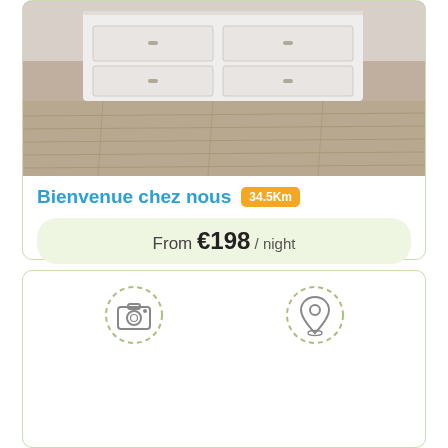[Figure (photo): Room interior showing wooden floor and white furniture/dresser at top]
Bienvenue chez nous 34.5Km
From €198 / night
Book Now
[Figure (other): Two dashed-circle icons: camera icon on left, map pin/location icon on right]